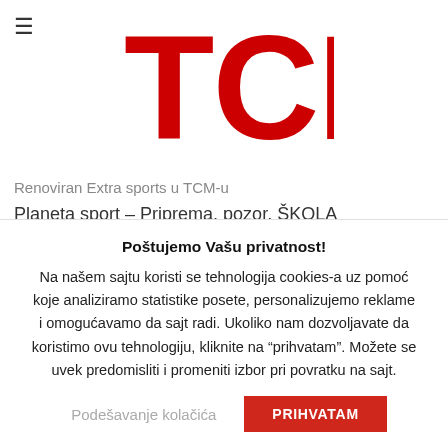TCM logo with hamburger menu
Renoviran Extra sports u TCM-u
Planeta sport – Priprema, pozor, ŠKOLA
Renovira se Extra Sports
Poštujemo Vašu privatnost!
Na našem sajtu koristi se tehnologija cookies-a uz pomoć koje analiziramo statistike posete, personalizujemo reklame i omogućavamo da sajt radi. Ukoliko nam dozvoljavate da koristimo ovu tehnologiju, kliknite na "prihvatam". Možete se uvek predomisliti i promeniti izbor pri povratku na sajt.
Podešavanje kolačića | PRIHVATAM